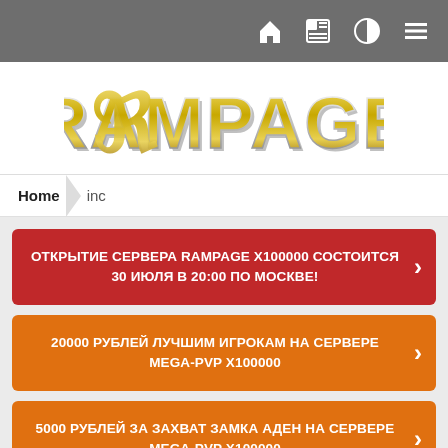Navigation bar with home, news, theme toggle, and menu icons
[Figure (logo): Rampage gaming server logo with stylized metallic gothic lettering]
Home / inc
ОТКРЫТИЕ СЕРВЕРА RAMPAGE x100000 Состоится 30 Июля в 20:00 по Москве!
20000 РУБЛЕЙ ЛУЧШИМ ИГРОКАМ НА СЕРВЕРЕ MEGA-PVP X100000
5000 РУБЛЕЙ ЗА ЗАХВАТ ЗАМКА АДЕН НА СЕРВЕРЕ MEGA-PVP X100000